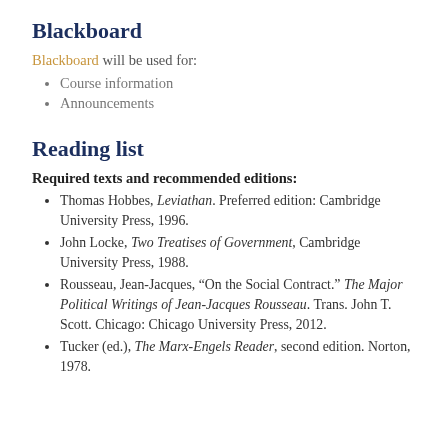Blackboard
Blackboard will be used for:
Course information
Announcements
Reading list
Required texts and recommended editions:
Thomas Hobbes, Leviathan. Preferred edition: Cambridge University Press, 1996.
John Locke, Two Treatises of Government, Cambridge University Press, 1988.
Rousseau, Jean-Jacques, "On the Social Contract." The Major Political Writings of Jean-Jacques Rousseau. Trans. John T. Scott. Chicago: Chicago University Press, 2012.
Tucker (ed.), The Marx-Engels Reader, second edition. Norton, 1978.